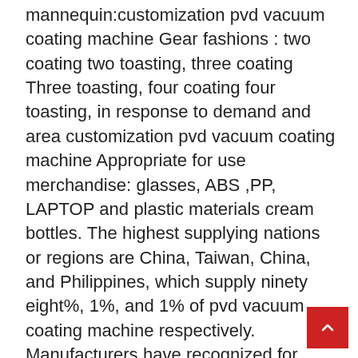mannequin:customization pvd vacuum coating machine Gear fashions : two coating two toasting, three coating Three toasting, four coating four toasting, in response to demand and area customization pvd vacuum coating machine Appropriate for use merchandise: glasses, ABS ,PP, LAPTOP and plastic materials cream bottles. The highest supplying nations or regions are China, Taiwan, China, and Philippines, which supply ninety eight%, 1%, and 1% of pvd vacuum coating machine respectively. Manufacturers have recognized for decades about the advantages of in-home PVD coating: time financial savings, high quality control, and customized skinny movie coatings that differentiate products by bettering operate and appearance. Vacuum coating technology